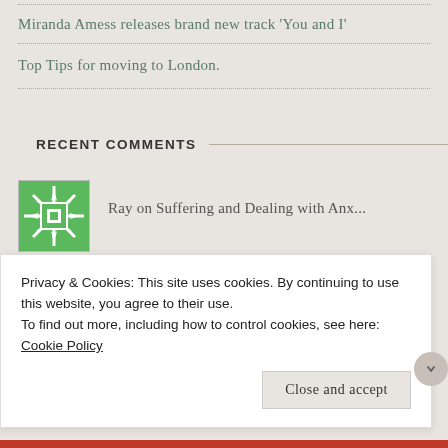Miranda Amess releases brand new track 'You and I'
Top Tips for moving to London.
RECENT COMMENTS
Ray on Suffering and Dealing with Anx...
Essays and stress..... on Essays and stress..
Ethan on Essays and stress..
Privacy & Cookies: This site uses cookies. By continuing to use this website, you agree to their use.
To find out more, including how to control cookies, see here: Cookie Policy
Close and accept